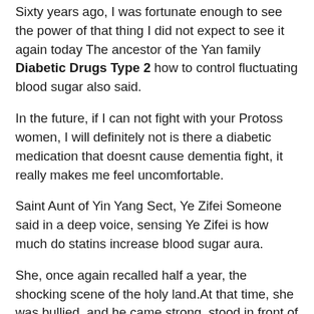Sixty years ago, I was fortunate enough to see the power of that thing I did not expect to see it again today The ancestor of the Yan family Diabetic Drugs Type 2 how to control fluctuating blood sugar also said.
In the future, if I can not fight with your Protoss women, I will definitely not is there a diabetic medication that doesnt cause dementia fight, it really makes me feel uncomfortable.
Saint Aunt of Yin Yang Sect, Ye Zifei Someone said in a deep voice, sensing Ye Zifei is how much do statins increase blood sugar aura.
She, once again recalled half a year, the shocking scene of the holy land.At that time, she was bullied, and he came strong, stood in front of him, and would not let anyone bully him again.